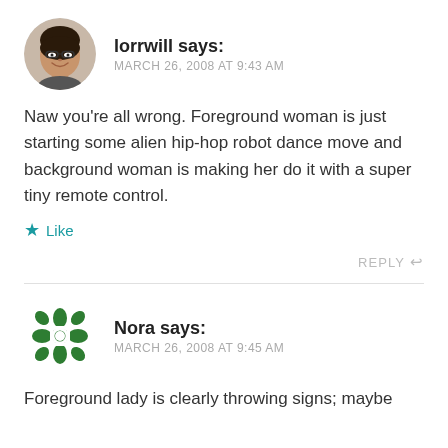[Figure (photo): Circular avatar photo of lorrwill, a woman wearing glasses, smiling]
lorrwill says:
MARCH 26, 2008 AT 9:43 AM
Naw you're all wrong. Foreground woman is just starting some alien hip-hop robot dance move and background woman is making her do it with a super tiny remote control.
★ Like
REPLY ↩
[Figure (logo): Circular green decorative icon for Nora]
Nora says:
MARCH 26, 2008 AT 9:45 AM
Foreground lady is clearly throwing signs; maybe